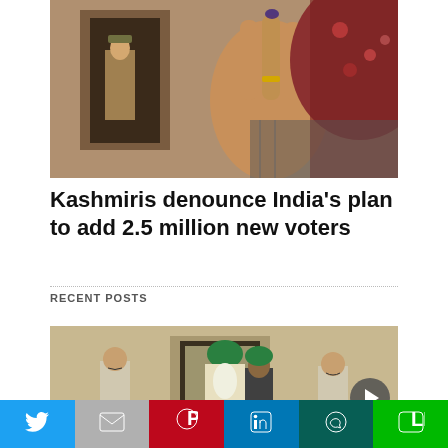[Figure (photo): A woman in a floral hijab holding up her ink-marked finger after voting, with a police officer standing in a doorway in the background.]
Kashmiris denounce India’s plan to add 2.5 million new voters
RECENT POSTS
[Figure (photo): Several men including police officers and religious leaders standing in front of a building.]